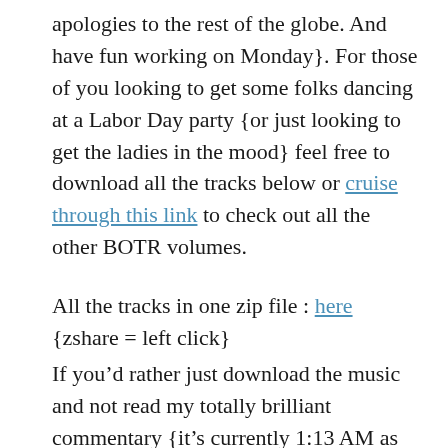apologies to the rest of the globe.  And have fun working on Monday}.  For those of you looking to get some folks dancing at a Labor Day party {or just looking to get the ladies in the mood} feel free to download all the tracks below or cruise through this link to check out all the other BOTR volumes.
All the tracks in one zip file : here {zshare = left click}
If you'd rather just download the music and not read my totally brilliant commentary {it's currently 1:13 AM as I'm typing it} click the link above and be on your merry way.  All the tracks below are available to be downloaded directly